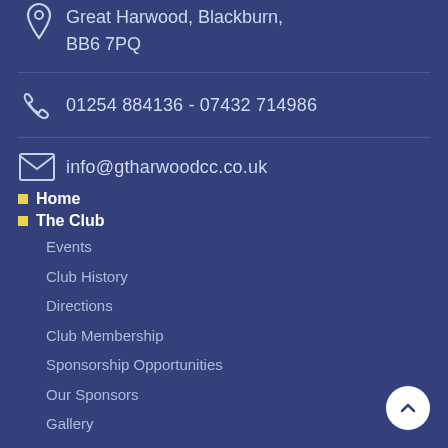Great Harwood, Blackburn, BB6 7PQ
01254 884136 - 07432 714986
info@gtharwoodcc.co.uk
Home
The Club
Events
Club History
Directions
Club Membership
Sponsorship Opportunities
Our Sponsors
Gallery
Club Rules